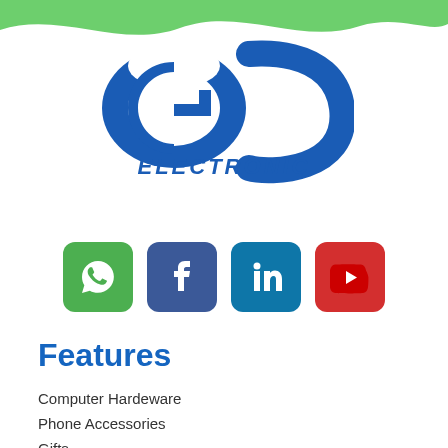[Figure (logo): GC Electronic logo with blue interlocking G and C letters above the word ELECTRONIC in blue italic font]
[Figure (infographic): Four social media icon buttons: WhatsApp (green), Facebook (dark blue), LinkedIn (blue), YouTube (red)]
Features
Computer Hardeware
Phone Accessories
Gifts
Household Supplies